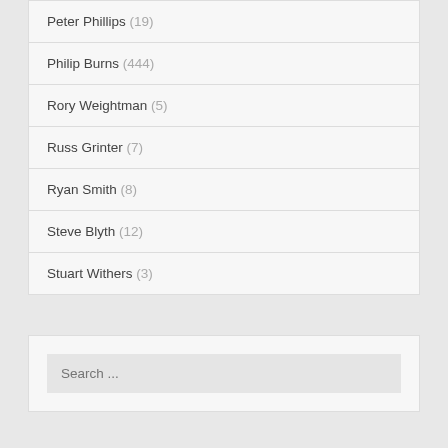Peter Phillips (19)
Philip Burns (444)
Rory Weightman (5)
Russ Grinter (7)
Ryan Smith (8)
Steve Blyth (12)
Stuart Withers (3)
Search ...